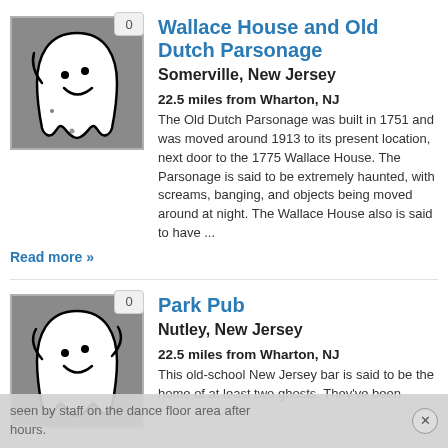[Figure (illustration): Ghost cartoon illustration on grey background with badge showing 0]
Wallace House and Old Dutch Parsonage
Somerville, New Jersey
22.5 miles from Wharton, NJ
The Old Dutch Parsonage was built in 1751 and was moved around 1913 to its present location, next door to the 1775 Wallace House. The Parsonage is said to be extremely haunted, with screams, banging, and objects being moved around at night. The Wallace House also is said to have ...
Read more »
[Figure (illustration): Ghost cartoon illustration on grey background with badge showing 0]
Park Pub
Nutley, New Jersey
22.5 miles from Wharton, NJ
This old-school New Jersey bar is said to be the home of at least two ghosts. They've been seen by staff on the dance floor area after hours.